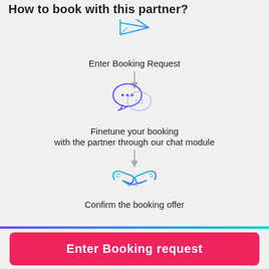How to book with this partner?
[Figure (flowchart): Flowchart showing three steps: 1) paper plane icon with 'Enter Booking Request', arrow down, 2) chat bubbles icon with 'Finetune your booking with the partner through our chat module', arrow down, 3) handshake icon with 'Confirm the booking offer']
Enter Booking Request
Finetune your booking
with the partner through our chat module
Confirm the booking offer
Enter Booking request